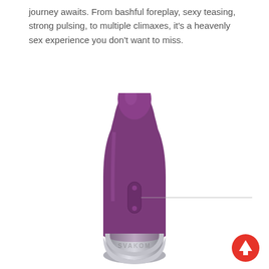journey awaits. From bashful foreplay, sexy teasing, strong pulsing, to multiple climaxes, it's a heavenly sex experience you don't want to miss.
[Figure (photo): A purple SVAKOM personal massager device with a silver base engraved with 'SVAKOM', photographed against a white background. A thin horizontal line extends from the body of the device toward the right, likely indicating a labeled feature.]